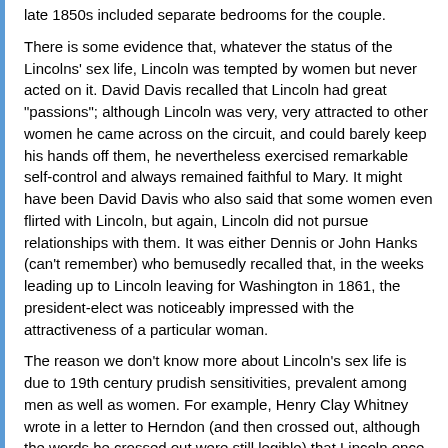late 1850s included separate bedrooms for the couple.
There is some evidence that, whatever the status of the Lincolns' sex life, Lincoln was tempted by women but never acted on it. David Davis recalled that Lincoln had great "passions"; although Lincoln was very, very attracted to other women he came across on the circuit, and could barely keep his hands off them, he nevertheless exercised remarkable self-control and always remained faithful to Mary. It might have been David Davis who also said that some women even flirted with Lincoln, but again, Lincoln did not pursue relationships with them. It was either Dennis or John Hanks (can't remember) who bemusedly recalled that, in the weeks leading up to Lincoln leaving for Washington in 1861, the president-elect was noticeably impressed with the attractiveness of a particular woman.
The reason we don't know more about Lincoln's sex life is due to 19th century prudish sensitivities, prevalent among men as well as women. For example, Henry Clay Whitney wrote in a letter to Herndon (and then crossed out, although the words he crossed out were still legible) that Lincoln once compared "sexual contact" to a "harp of a thousand strings." It's interesting that Whitney crossed out this very mild sentence. It's also interesting that Whitney used the words "sexual contact" instead of "orgasm," which is what I think Lincoln meant by his rather